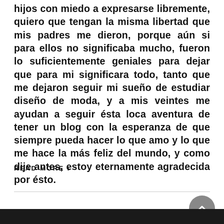hijos con miedo a expresarse libremente, quiero que tengan la misma libertad que mis padres me dieron, porque aún si para ellos no significaba mucho, fueron lo suficientemente geniales para dejar que para mi significara todo, tanto que me dejaron seguir mi sueño de estudiar diseño de moda, y a mis veintes me ayudan a seguir ésta loca aventura de tener un blog con la esperanza de que siempre pueda hacer lo que amo y lo que me hace la más feliz del mundo, y como dije antes, estoy eternamente agradecida por ésto.
READ MORE ›